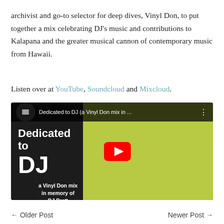archivist and go-to selector for deep dives, Vinyl Don, to put together a mix celebrating DJ's music and contributions to Kalapana and the greater musical cannon of contemporary music from Hawaii.
Listen over at YouTube, Soundcloud and Mixcloud.
[Figure (screenshot): YouTube video thumbnail for 'Dedicated to DJ (a Vinyl Don mix in ...' showing a dark background with yellow record album artwork, a man with a guitar, bold white text reading 'Dedicated to DJ a Vinyl Don mix in memory of DJ Pratt', and a red YouTube play button in the center.]
← Older Post    Newer Post →